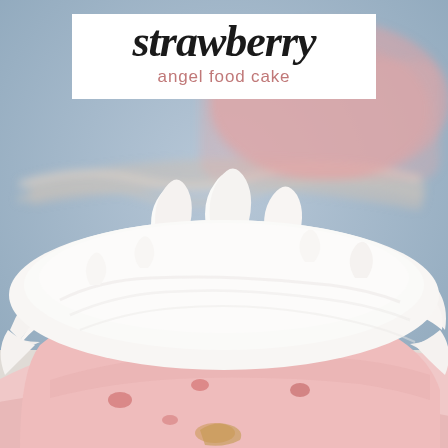[Figure (photo): Close-up photo of a slice of strawberry angel food cake with fluffy white whipped cream topping over a pink strawberry filling, with more cake visible blurred in the background on a white plate against a light gray background.]
strawberry angel food cake